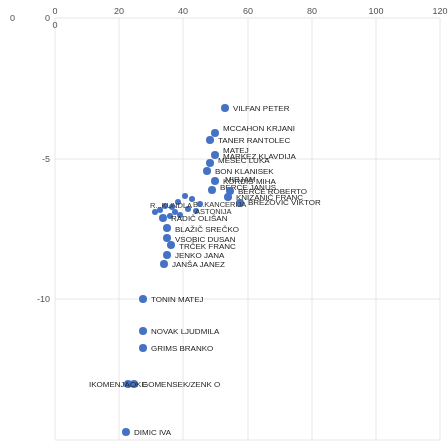[Figure (continuous-plot): Scatter plot with named data points (politicians/persons). X-axis ranges 0-120, Y-axis ranges from approximately -15 to 0. Points are labeled with names including VILFAN PETER, MCCAHON KRJANI, TANER RANTOLEC, MATEJ, MARKEZ KLAVDIJA, MESEC LUKA, BON KLANISEK, MIRJAM, KORDIS MIHA, BERCE JANUS, BERCE ROBERTO, KNIZANIC FRANC, BREZOVIC VIKTOR, and many others clustered in a diagonal band, plus RADIJ OLISAN, BLAZIJ SRECKKO, VSOBIC DUSAN, TRCEK FRANC, JENKO JANA, JANSA JANEZ, TONIN MATEJ, NOVAK LJUDMILA, GRIMS BRANKO, GOMENSEK/KOVACENKO, DIMIC IVA.]